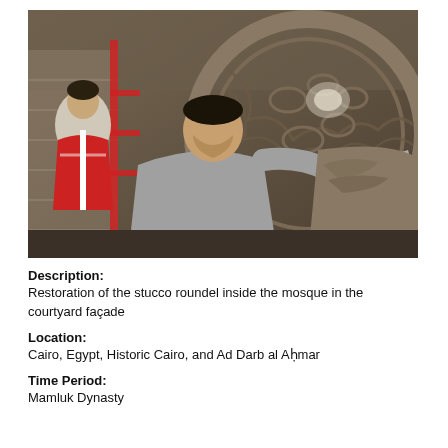[Figure (photo): Two workers restoring a large decorative stucco roundel inside a mosque courtyard. The man in the foreground wears gloves and works closely on the carved stone surface. A second worker in a red and white shirt stands in the background.]
Description:
Restoration of the stucco roundel inside the mosque in the courtyard façade
Location:
Cairo, Egypt, Historic Cairo, and Ad Darb al Aḥmar
Time Period:
Mamluk Dynasty